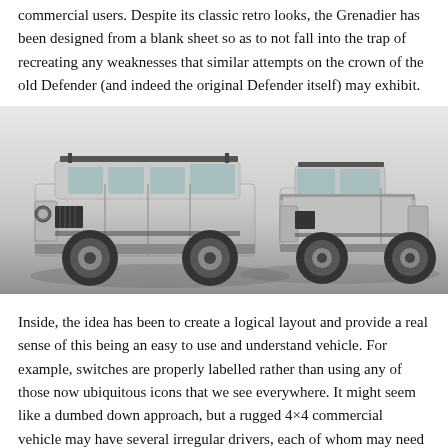commercial users. Despite its classic retro looks, the Grenadier has been designed from a blank sheet so as to not fall into the trap of recreating any weaknesses that similar attempts on the crown of the old Defender (and indeed the original Defender itself) may exhibit.
[Figure (photo): Two INEOS Grenadier vehicles side by side against a light grey background. On the left is a station wagon/utility version and on the right is a pickup truck version. Both are silver/grey in color with black trim details and large off-road tires.]
Inside, the idea has been to create a logical layout and provide a real sense of this being an easy to use and understand vehicle. For example, switches are properly labelled rather than using any of those now ubiquitous icons that we see everywhere. It might seem like a dumbed down approach, but a rugged 4×4 commercial vehicle may have several irregular drivers, each of whom may need to get used to